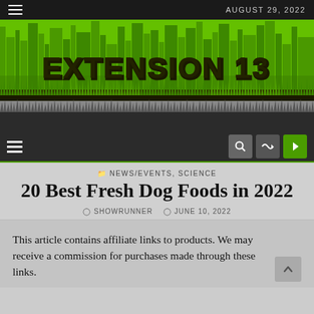AUGUST 29, 2022
[Figure (illustration): Extension 13 website banner with green cityscape silhouette and grunge-style text reading EXTENSION 13 on a dark background]
Navigation bar with hamburger menu, search, shuffle, and login icons
NEWS/EVENTS, SCIENCE
20 Best Fresh Dog Foods in 2022
SHOWRUNNER  JUNE 10, 2022
This article contains affiliate links to products. We may receive a commission for purchases made through these links.